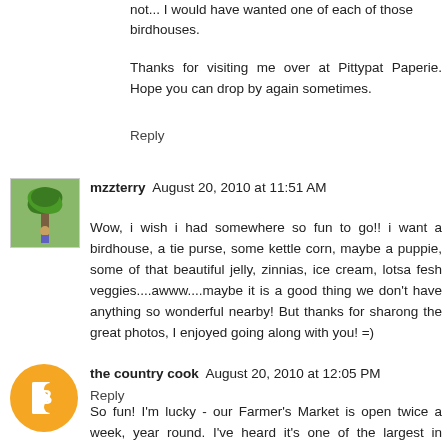not... I would have wanted one of each of those birdhouses.
Thanks for visiting me over at Pittypat Paperie. Hope you can drop by again sometimes.
Reply
mzzterry August 20, 2010 at 11:51 AM
Wow, i wish i had somewhere so fun to go!! i want a birdhouse, a tie purse, some kettle corn, maybe a puppie, some of that beautiful jelly, zinnias, ice cream, lotsa fesh veggies....awww....maybe it is a good thing we don't have anything so wonderful nearby! But thanks for sharong the great photos, I enjoyed going along with you! =)
Reply
the country cook August 20, 2010 at 12:05 PM
So fun! I'm lucky - our Farmer's Market is open twice a week, year round. I've heard it's one of the largest in California but to be it really goes about the love of the...